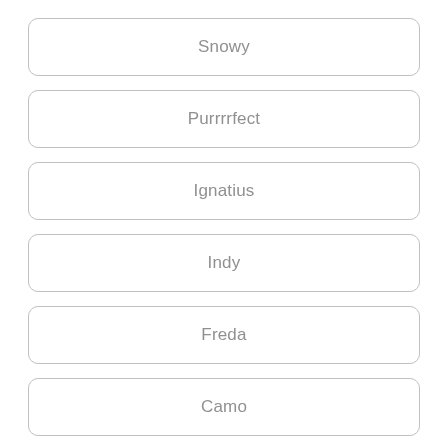Snowy
Purrrrfect
Ignatius
Indy
Freda
Camo